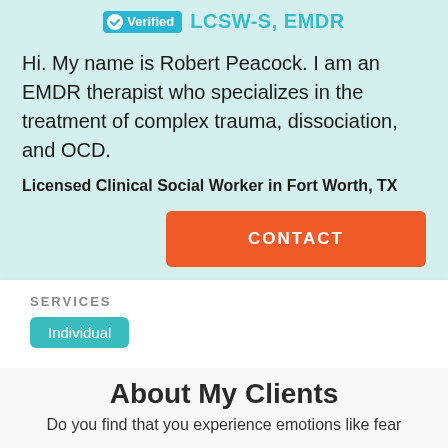Verified LCSW-S, EMDR
Hi. My name is Robert Peacock. I am an EMDR therapist who specializes in the treatment of complex trauma, dissociation, and OCD.
Licensed Clinical Social Worker in Fort Worth, TX
CONTACT
SERVICES
Individual
About My Clients
Do you find that you experience emotions like fear